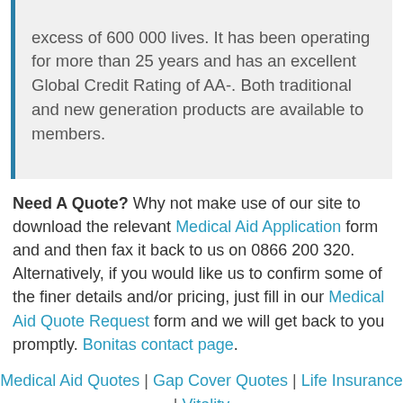excess of 600 000 lives. It has been operating for more than 25 years and has an excellent Global Credit Rating of AA-. Both traditional and new generation products are available to members.
Need A Quote? Why not make use of our site to download the relevant Medical Aid Application form and and then fax it back to us on 0866 200 320. Alternatively, if you would like us to confirm some of the finer details and/or pricing, just fill in our Medical Aid Quote Request form and we will get back to you promptly. Bonitas contact page.
Medical Aid Quotes | Gap Cover Quotes | Life Insurance | Vitality